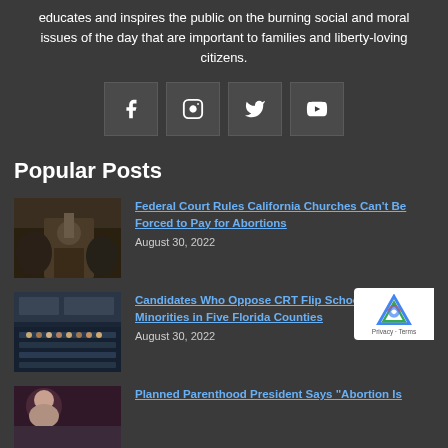educates and inspires the public on the burning social and moral issues of the day that are important to families and liberty-loving citizens.
[Figure (infographic): Four social media icon buttons: Facebook, Instagram, Twitter, YouTube on dark background]
Popular Posts
[Figure (photo): Photo of a person at a church event]
Federal Court Rules California Churches Can't Be Forced to Pay for Abortions
August 30, 2022
[Figure (photo): Photo of a school board meeting with audience]
Candidates Who Oppose CRT Flip School Board Minorities in Five Florida Counties
August 30, 2022
[Figure (photo): Partial photo for Planned Parenthood article]
Planned Parenthood President Says "Abortion Is